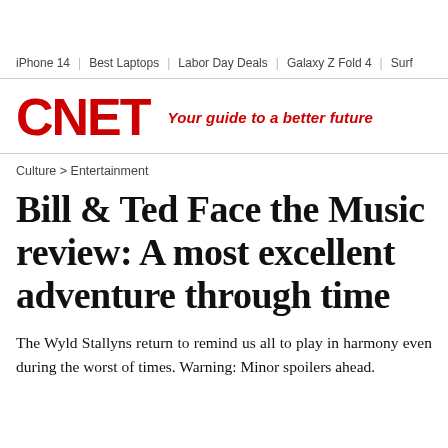iPhone 14 | Best Laptops | Labor Day Deals | Galaxy Z Fold 4 | Surf
[Figure (logo): CNET logo in red bold text with tagline 'Your guide to a better future' in red italic]
Culture > Entertainment
Bill & Ted Face the Music review: A most excellent adventure through time
The Wyld Stallyns return to remind us all to play in harmony even during the worst of times. Warning: Minor spoilers ahead.